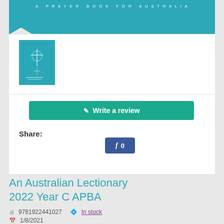A PRAYER BOOK FOR AUSTRALIA
[Figure (illustration): Thumbnail of a teal book cover with a cross and abstract design, titled related to A Prayer Book for Australia]
✎ Write a review
Share:
f 0
An Australian Lectionary 2022 Year C APBA
9781922441027   In stock
1/8/2021
RRP $14.95